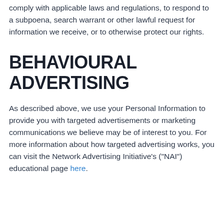comply with applicable laws and regulations, to respond to a subpoena, search warrant or other lawful request for information we receive, or to otherwise protect our rights.
BEHAVIOURAL ADVERTISING
As described above, we use your Personal Information to provide you with targeted advertisements or marketing communications we believe may be of interest to you. For more information about how targeted advertising works, you can visit the Network Advertising Initiative's (“NAI”) educational page here.